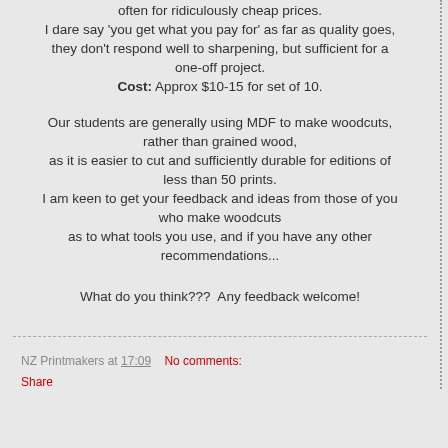often for ridiculously cheap prices. I dare say 'you get what you pay for' as far as quality goes, they don't respond well to sharpening, but sufficient for a one-off project. Cost: Approx $10-15 for set of 10.
Our students are generally using MDF to make woodcuts, rather than grained wood, as it is easier to cut and sufficiently durable for editions of less than 50 prints. I am keen to get your feedback and ideas from those of you who make woodcuts as to what tools you use, and if you have any other recommendations...
What do you think???  Any feedback welcome!
NZ Printmakers at 17:09   No comments:
Share